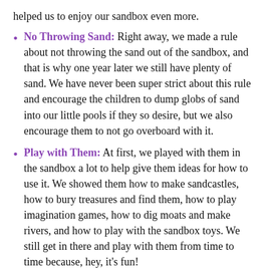helped us to enjoy our sandbox even more.
No Throwing Sand: Right away, we made a rule about not throwing the sand out of the sandbox, and that is why one year later we still have plenty of sand. We have never been super strict about this rule and encourage the children to dump globs of sand into our little pools if they so desire, but we also encourage them to not go overboard with it.
Play with Them: At first, we played with them in the sandbox a lot to help give them ideas for how to use it. We showed them how to make sandcastles, how to bury treasures and find them, how to play imagination games, how to dig moats and make rivers, and how to play with the sandbox toys. We still get in there and play with them from time to time because, hey, it’s fun!
Sand and Water: If you want to take your sandbox